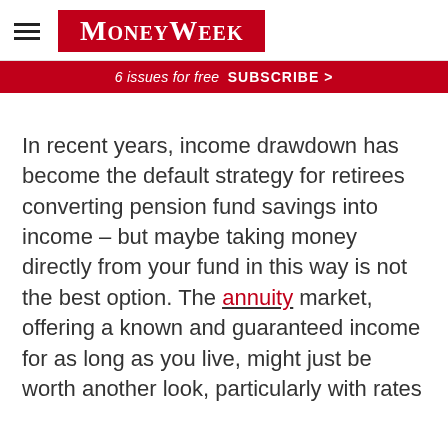[Figure (logo): MoneyWeek logo in red box with white serif small-caps text]
6 issues for free  SUBSCRIBE >
In recent years, income drawdown has become the default strategy for retirees converting pension fund savings into income – but maybe taking money directly from your fund in this way is not the best option. The annuity market, offering a known and guaranteed income for as long as you live, might just be worth another look, particularly with rates